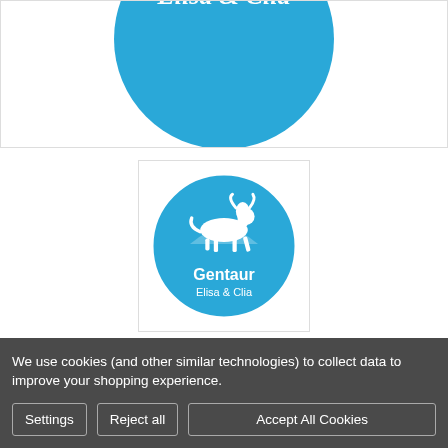[Figure (logo): Gentaur Elisa & Clia circular blue logo, partially cropped at top, large version]
[Figure (logo): Gentaur Elisa & Clia circular blue logo, smaller version in white box with border]
Rat ALCAM (Activated Leukocyte Cell Adhesion Molecule) ELISA Kit | G-EC-05895
We use cookies (and other similar technologies) to collect data to improve your shopping experience.
Settings | Reject all | Accept All Cookies